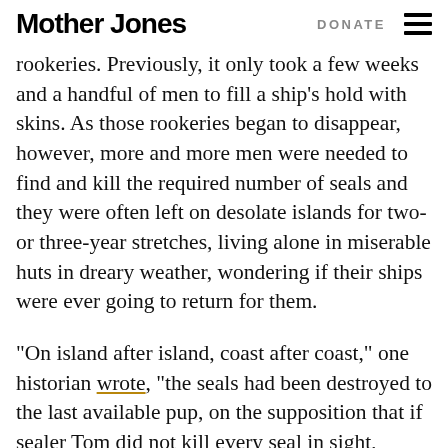Mother Jones | DONATE
rookeries. Previously, it only took a few weeks and a handful of men to fill a ship’s hold with skins. As those rookeries began to disappear, however, more and more men were needed to find and kill the required number of seals and they were often left on desolate islands for two- or three-year stretches, living alone in miserable huts in dreary weather, wondering if their ships were ever going to return for them.
“On island after island, coast after coast,” one historian wrote, “the seals had been destroyed to the last available pup, on the supposition that if sealer Tom did not kill every seal in sight, sealer Dick or sealer Harry would not be so squeamish.” By